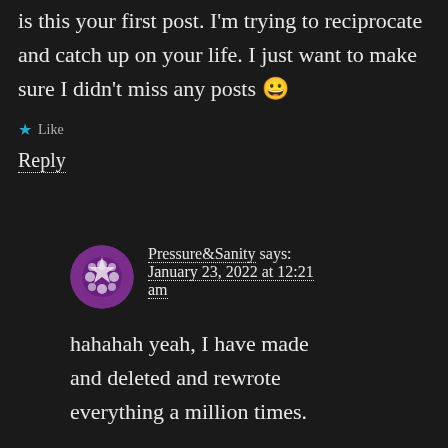is this your first post. I'm trying to reciprocate and catch up on your life. I just want to make sure I didn't miss any posts 😀
★ Like
Reply
Pressure&Sanity says: January 23, 2022 at 12:21 am
hahahah yeah, I have made and deleted and rewrote everything a million times.